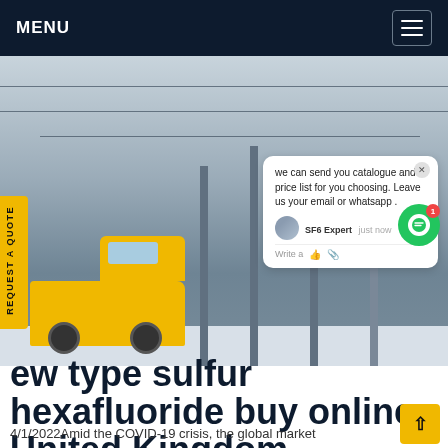MENU
[Figure (photo): Electrical substation with a yellow utility truck in a snowy environment, with tall poles, transformers, and overhead power lines. A chat popup overlay is visible on the right side of the image.]
we can send you catalogue and price list for you choosing. Leave us your email or whatsapp .
SF6 Expert   just now
Write a
ew type sulfur hexafluoride buy online United Kingdom
4/1/2022Amid the COVID-19 crisis, the global market